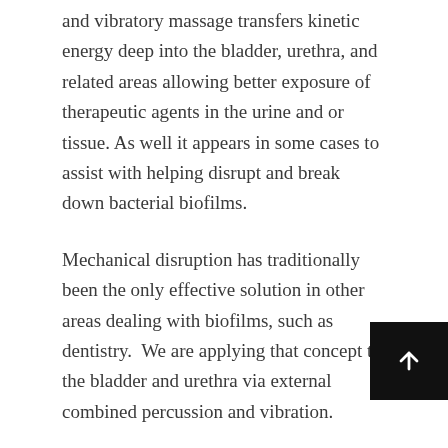and vibratory massage transfers kinetic energy deep into the bladder, urethra, and related areas allowing better exposure of therapeutic agents in the urine and or tissue. As well it appears in some cases to assist with helping disrupt and break down bacterial biofilms.
Mechanical disruption has traditionally been the only effective solution in other areas dealing with biofilms, such as dentistry. We are applying that concept to the bladder and urethra via external combined percussion and vibration.
Percussive massage and vibratory massage, combined with postural drainage is an effective, widely used technique for thinning chest mucus, particularly for fibrosis. As well, a study showed that high-frequency vibration in fluid significantly assists an antibiotic